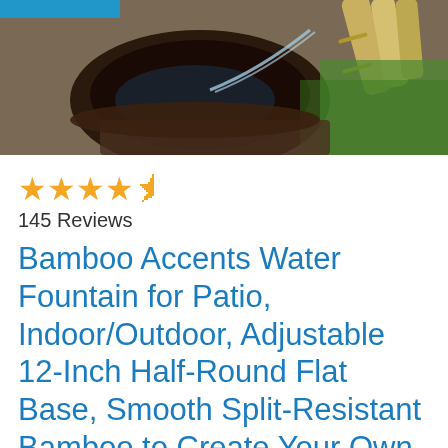[Figure (photo): Photo of a bamboo water fountain with water flowing from bamboo poles into a dark stone basin, with green grass visible in the background. A blue banner is visible at the top left corner.]
★★★★½
145 Reviews
Bamboo Accents Water Fountain for Patio, Indoor/Outdoor, Adjustable 12-Inch Half-Round Flat Base, Smooth Split-Resistant Bamboo to Create Your Own Zen Fountain